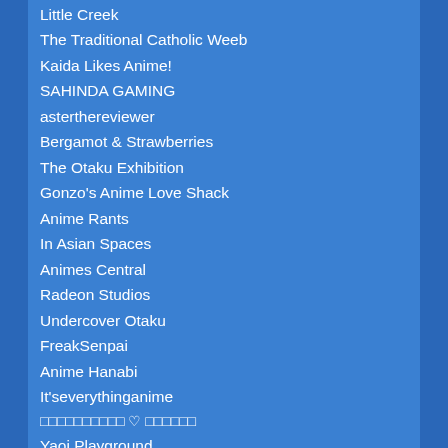Little Creek
The Traditional Catholic Weeb
Kaida Likes Anime!
SAHINDA GAMING
asterthereviewer
Bergamot & Strawberries
The Otaku Exhibition
Gonzo's Anime Love Shack
Anime Rants
In Asian Spaces
Animes Central
Radeon Studios
Undercover Otaku
FreakSenpai
Anime Hanabi
It'severythinganime
□□□□□□□□□□ ♡ □□□□□□
Yaoi Playground
The Demented Ferrets
ARCHI-ANIME
Tasting Peanut Butter…